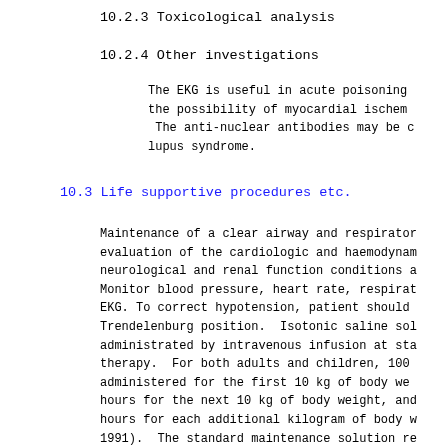10.2.3 Toxicological analysis
10.2.4 Other investigations
The EKG is useful in acute poisoning to evaluate the possibility of myocardial ischemia. The anti-nuclear antibodies may be checked for lupus syndrome.
10.3 Life supportive procedures etc.
Maintenance of a clear airway and respiratory evaluation of the cardiologic and haemodynamic, neurological and renal function conditions are needed. Monitor blood pressure, heart rate, respiration, EKG. To correct hypotension, patient should be in Trendelenburg position. Isotonic saline solution is administrated by intravenous infusion at standard therapy. For both adults and children, 100 ml/kg is administered for the first 10 kg of body weight, 50 ml/hours for the next 10 kg of body weight, and 20 ml/hours for each additional kilogram of body weight (Warren, 1991). The standard maintenance solution recommended by clinicians after correction of hypotension is 5% dextrose/0.2% (NaCl), with 10 to 20 mEq potassium added per liter. The electrolytes can be adjusted to the blood measurements (Warren, 1991).